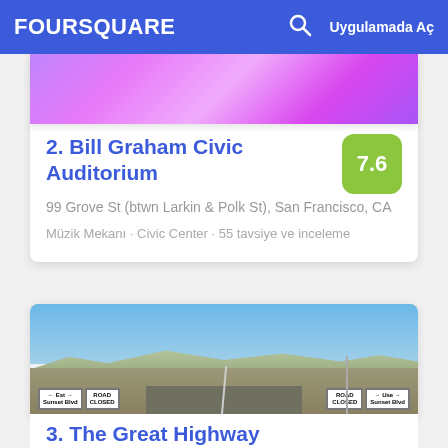FOURSQUARE  Uygulamada Aç
[Figure (photo): Top portion of pink/purple floral image (partially visible)]
2. Bill Graham Civic Auditorium
99 Grove St (btwn Larkin & Polk St), San Francisco, CA
Müzik Mekanı · Civic Center · 55 tavsiye ve inceleme
[Figure (photo): Photo of a road closure with ROAD CLOSED signs and 'Use Sunset Blvd' sign, with mountains and blue sky in background]
3. The Great Highway